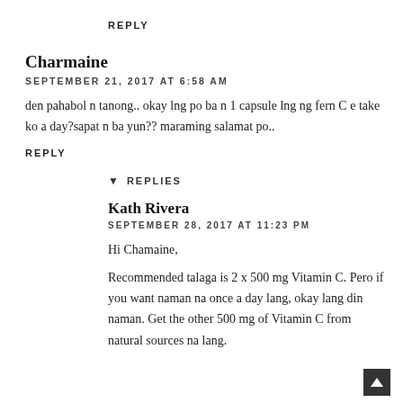REPLY
Charmaine
SEPTEMBER 21, 2017 AT 6:58 AM
den pahabol n tanong.. okay lng po ba n 1 capsule lng ng fern C e take ko a day?sapat n ba yun?? maraming salamat po..
REPLY
▼ REPLIES
Kath Rivera
SEPTEMBER 28, 2017 AT 11:23 PM
Hi Chamaine,
Recommended talaga is 2 x 500 mg Vitamin C. Pero if you want naman na once a day lang, okay lang din naman. Get the other 500 mg of Vitamin C from natural sources na lang.